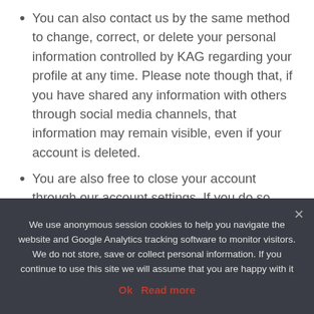You can also contact us by the same method to change, correct, or delete your personal information controlled by KAG regarding your profile at any time. Please note though that, if you have shared any information with others through social media channels, that information may remain visible, even if your account is deleted.
You are also free to close your account through our account settings. If you do so, your account will be deactivated. However, we may retain
We use anonymous session cookies to help you navigate the website and Google Analytics tracking software to monitor visitors. We do not store, save or collect personal information. If you continue to use this site we will assume that you are happy with it
Ok   Read more